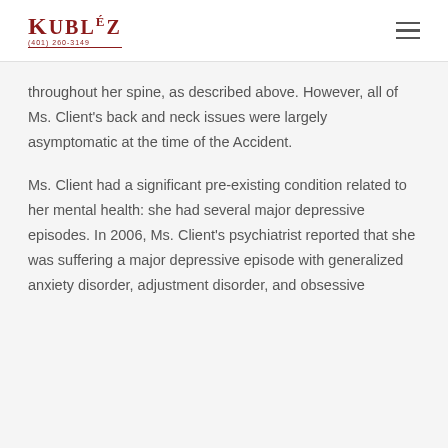KUBLÉZ Law (401) 260-3149
throughout her spine, as described above. However, all of Ms. Client's back and neck issues were largely asymptomatic at the time of the Accident.
Ms. Client had a significant pre-existing condition related to her mental health: she had several major depressive episodes. In 2006, Ms. Client's psychiatrist reported that she was suffering a major depressive episode with generalized anxiety disorder, adjustment disorder, and obsessive